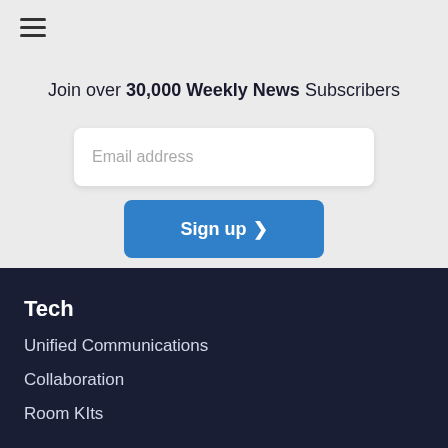[Figure (screenshot): Hamburger menu icon — three horizontal lines]
Join over 30,000 Weekly News Subscribers
Email address
Sign up >
Tech
Unified Communications
Collaboration
Room KIts